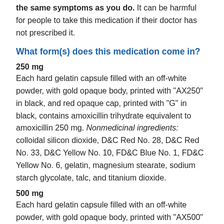the same symptoms as you do. It can be harmful for people to take this medication if their doctor has not prescribed it.
What form(s) does this medication come in?
250 mg
Each hard gelatin capsule filled with an off-white powder, with gold opaque body, printed with "AX250" in black, and red opaque cap, printed with "G" in black, contains amoxicillin trihydrate equivalent to amoxicillin 250 mg. Nonmedicinal ingredients: colloidal silicon dioxide, D&C Red No. 28, D&C Red No. 33, D&C Yellow No. 10, FD&C Blue No. 1, FD&C Yellow No. 6, gelatin, magnesium stearate, sodium starch glycolate, talc, and titanium dioxide.
500 mg
Each hard gelatin capsule filled with an off-white powder, with gold opaque body, printed with "AX500" in black, and red opaque cap, printed with "G" in black, contains amoxicillin trihydrate equivalent to amoxicillin 500 mg. Nonmedicinal